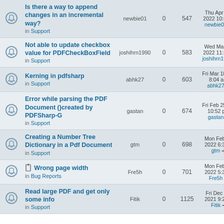|  | Topic | Author | Replies | Views | Last post |
| --- | --- | --- | --- | --- | --- |
| (icon) | Is there a way to append changes in an incremental way? in Support | newbie01 | 0 | 547 | Thu Apr 07, 2022 10:40 a newbie01 → |
| (icon) | Not able to update checkbox value for PDFCheckBoxField in Support | joshihrn1990 | 0 | 583 | Wed Mar 30 2022 11:52 p joshihrn199 → |
| (icon) | Kerning in pdfsharp in Support | abhk27 | 0 | 603 | Fri Mar 18, 20 8:04 am abhk27 → |
| (icon) | Error while parsing the PDF Document ()created by PDFSharp-G in Support | gastan | 0 | 674 | Fri Feb 25, 20 10:52 pm gastan → |
| (icon) | Creating a Number Tree Dictionary in a Pdf Document in Support | gtm | 0 | 698 | Mon Feb 07 2022 6:31 p gtm → |
| (icon) | (attach) Wrong page width in Bug Reports | Fre5h | 0 | 701 | Mon Feb 07 2022 5:33 a Fre5h → |
| (icon) | Read large PDF and get only some info in Support | Fitik | 0 | 1125 | Fri Dec 17, 2021 9:24 p Fitik → |